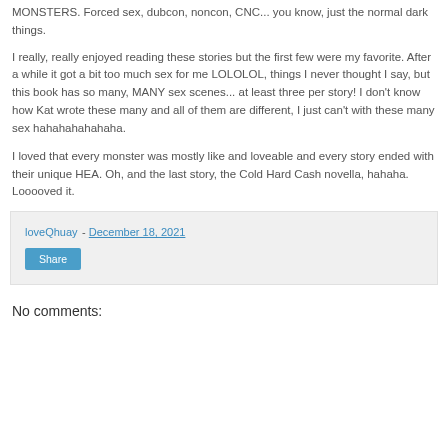MONSTERS. Forced sex, dubcon, noncon, CNC... you know, just the normal dark things.
I really, really enjoyed reading these stories but the first few were my favorite. After a while it got a bit too much sex for me LOLOLOL, things I never thought I say, but this book has so many, MANY sex scenes... at least three per story! I don't know how Kat wrote these many and all of them are different, I just can't with these many sex hahahahahahaha.
I loved that every monster was mostly like and loveable and every story ended with their unique HEA. Oh, and the last story, the Cold Hard Cash novella, hahaha. Looooved it.
loveQhuay - December 18, 2021
Share
No comments: